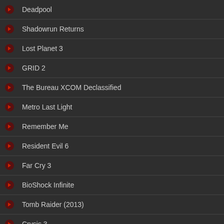Deadpool
Shadowrun Returns
Lost Planet 3
GRID 2
The Bureau XCOM Declassified
Metro Last Light
Remember Me
Resident Evil 6
Far Cry 3
BioShock Infinite
Tomb Raider (2013)
Crysis 3
Dead Space 3
Shadowrun Returns
Posted by a...
Shadowrun... tow. Though... rather than...
Lost Planet 3
Posted by a...
Lost Planet... Planet 3 the... place. Find...
The Bureau XCOM Declassi...
Posted by...